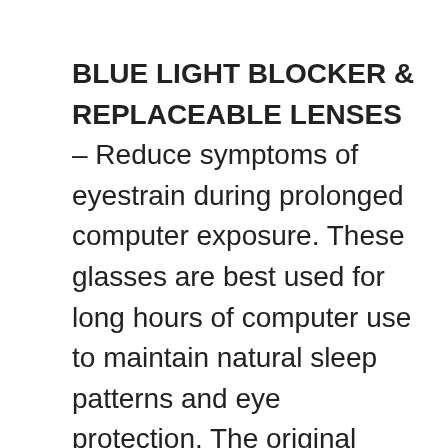BLUE LIGHT BLOCKER & REPLACEABLE LENSES – Reduce symptoms of eyestrain during prolonged computer exposure. These glasses are best used for long hours of computer use to maintain natural sleep patterns and eye protection. The original lenses can be replaced with your prescription lenses at any store.
HIGH-QUALITY MATERIALS – These cat eye style blue light blocking glasses are made of reinforced metal frames, soft silicone nose pads, and durable spring hinges, all the quality details ensuring you a perfect performance. The soft silicone nose pads can adapt to different nose shapes. Reduce the burden on each side of the